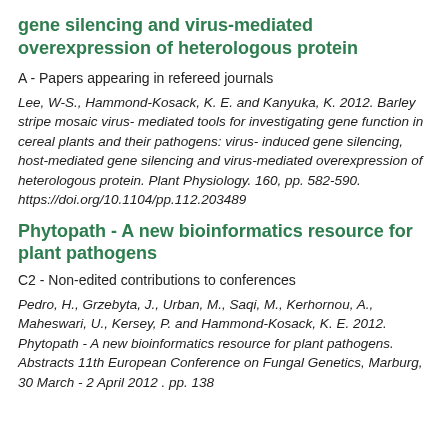gene silencing and virus-mediated overexpression of heterologous protein
A - Papers appearing in refereed journals
Lee, W-S., Hammond-Kosack, K. E. and Kanyuka, K. 2012. Barley stripe mosaic virus- mediated tools for investigating gene function in cereal plants and their pathogens: virus-induced gene silencing, host-mediated gene silencing and virus-mediated overexpression of heterologous protein. Plant Physiology. 160, pp. 582-590. https://doi.org/10.1104/pp.112.203489
Phytopath - A new bioinformatics resource for plant pathogens
C2 - Non-edited contributions to conferences
Pedro, H., Grzebyta, J., Urban, M., Saqi, M., Kerhornou, A., Maheswari, U., Kersey, P. and Hammond-Kosack, K. E. 2012. Phytopath - A new bioinformatics resource for plant pathogens. Abstracts 11th European Conference on Fungal Genetics, Marburg, 30 March - 2 April 2012 . pp. 138